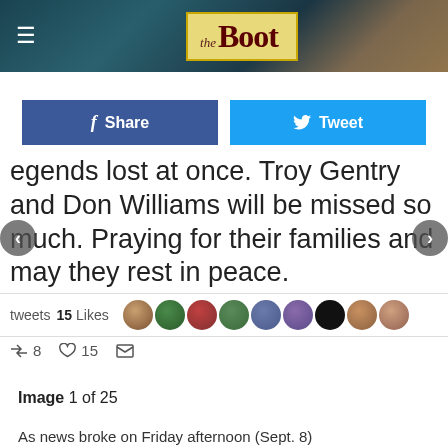the Boot
[Figure (screenshot): Social share buttons: Facebook Share and Twitter Tweet]
egends lost at once. Troy Gentry and Don Williams will be missed so much. Praying for their families and may they rest in peace.
PM - 8 Sep 2017
tweets 15 Likes
[Figure (photo): Row of avatar profile photos]
8  15
Image 1 of 25
As news broke on Friday afternoon (Sept. 8)